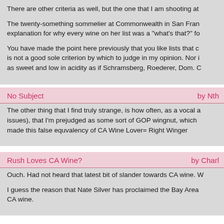There are other criteria as well, but the one that I am shooting at

The twenty-something sommelier at Commonwealth in San Fran... explanation for why every wine on her list was a "what's that?" fo

You have made the point here previously that you like lists that c... is not a good sole criterion by which to judge in my opinion. Nor i... as sweet and low in acidity as if Schramsberg, Roederer, Dom. C
No Subject   by Nth
The other thing that I find truly strange, is how often, as a vocal a... issues), that I'm prejudged as some sort of GOP wingnut, which ... made this false equvalency of CA Wine Lover= Right Winger
Rush Loves CA Wine?   by Charl
Ouch. Had not heard that latest bit of slander towards CA wine. W

I guess the reason that Nate Silver has proclaimed the Bay Area... CA wine.